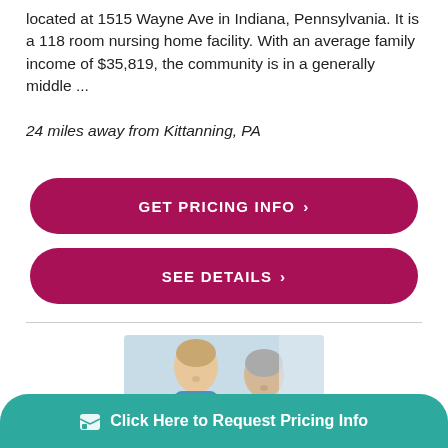located at 1515 Wayne Ave in Indiana, Pennsylvania. It is a 118 room nursing home facility. With an average family income of $35,819, the community is in a generally middle ...
24 miles away from Kittanning, PA
GET PRICING INFO ›
SEE DETAILS ›
[Figure (photo): A nurse in blue scrubs holding the hand of an elderly woman, looking at each other warmly.]
Click Here to Request Pricing Info